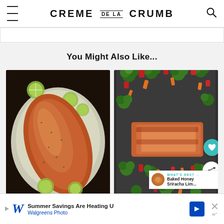CREME DE LA CRUMB
You Might Also Like...
[Figure (photo): Baked salmon fillet with lime slices on aluminum foil in a baking pan]
[Figure (photo): Sheet pan salmon with broccoli, carrots and red peppers, with heart and share buttons overlay, and a 'What's Next: Baked Honey Sriracha Lim...' banner]
WHAT'S NEXT → Baked Honey Sriracha Lim...
Summer Savings Are Heating U
Walgreens Photo